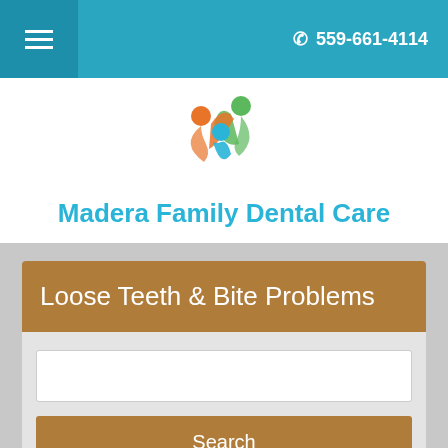559-661-4114
[Figure (logo): Madera Family Dental Care logo with three abstract human figures in orange, blue, and green arranged in a circle]
Madera Family Dental Care
Loose Teeth & Bite Problems